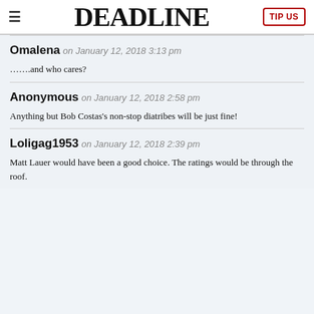DEADLINE | TIP US
Omalena on January 12, 2018 3:13 pm

…….and who cares?
Anonymous on January 12, 2018 2:58 pm

Anything but Bob Costas's non-stop diatribes will be just fine!
Loligag1953 on January 12, 2018 2:39 pm

Matt Lauer would have been a good choice. The ratings would be through the roof.